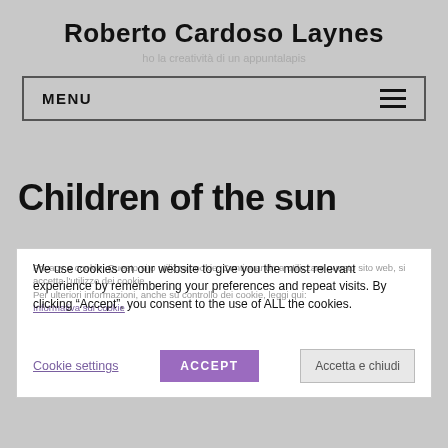Roberto Cardoso Laynes
ho la creatività di un appuntalapis
MENU
Children of the sun
Privacy e cookie: Questo sito utilizza cookie. Continuando a utilizzare questo sito web, si accetta l'utilizzo dei cookie. Per ulteriori informazioni, anche su controllo dei cookie, leggi qui: Informativa sui cookie
We use cookies on our website to give you the most relevant experience by remembering your preferences and repeat visits. By clicking "Accept", you consent to the use of ALL the cookies.
Cookie settings | ACCEPT | Accetta e chiudi